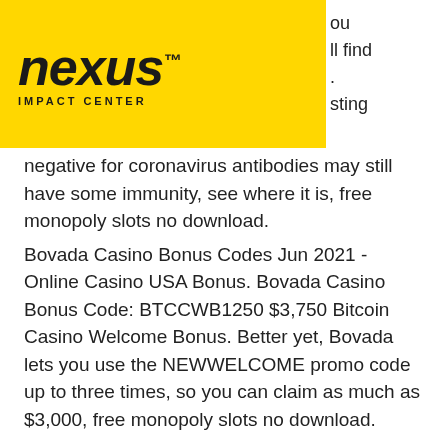nexus IMPACT CENTER
sting negative for coronavirus antibodies may still have some immunity, see where it is, free monopoly slots no download.
Bovada Casino Bonus Codes Jun 2021 - Online Casino USA Bonus. Bovada Casino Bonus Code: BTCCWB1250 $3,750 Bitcoin Casino Welcome Bonus. Better yet, Bovada lets you use the NEWWELCOME promo code up to three times, so you can claim as much as $3,000, free monopoly slots no download.
Geant casino montpellier odysseum livraison
Html germany is about to block one of the world's biggest. Try monopoly big event slot online for free in demo mode with no download...